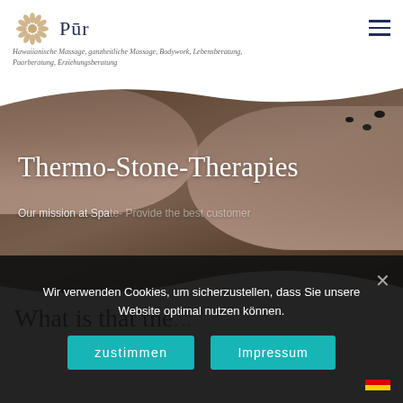Pūr — Hawaiianische Massage, ganzheitliche Massage, Bodywork, Lebensberatung, Paarberatung, Erziehungsberatung
[Figure (photo): Hero banner showing two people receiving hot stone massage therapy. Decorative wave-shaped mask on top and bottom. Title overlay: Thermo-Stone-Therapies. Subtitle: Our mission at Spa is to provide the best customer]
What is that the...
Wir verwenden Cookies, um sicherzustellen, dass Sie unsere Website optimal nutzen können.
zustimmen
Impressum